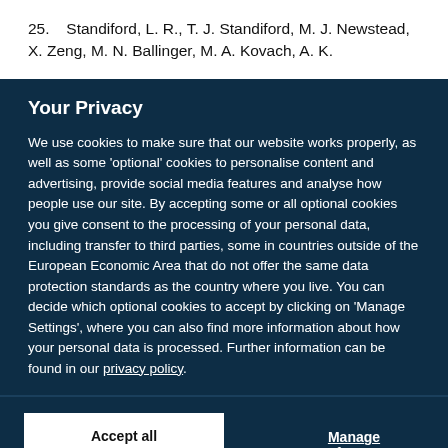25. Standiford, L. R., T. J. Standiford, M. J. Newstead, X. Zeng, M. N. Ballinger, M. A. Kovach, A. K.
Your Privacy
We use cookies to make sure that our website works properly, as well as some 'optional' cookies to personalise content and advertising, provide social media features and analyse how people use our site. By accepting some or all optional cookies you give consent to the processing of your personal data, including transfer to third parties, some in countries outside of the European Economic Area that do not offer the same data protection standards as the country where you live. You can decide which optional cookies to accept by clicking on 'Manage Settings', where you can also find more information about how your personal data is processed. Further information can be found in our privacy policy.
Accept all cookies
Manage preferences